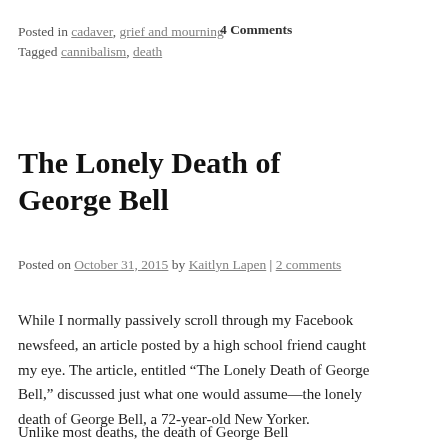Posted in cadaver, grief and mourning
Tagged cannibalism, death	4 Comments
The Lonely Death of George Bell
Posted on October 31, 2015 by Kaitlyn Lapen | 2 comments
While I normally passively scroll through my Facebook newsfeed, an article posted by a high school friend caught my eye. The article, entitled “The Lonely Death of George Bell,” discussed just what one would assume—the lonely death of George Bell, a 72-year-old New Yorker.
Unlike most deaths, the death of George Bell